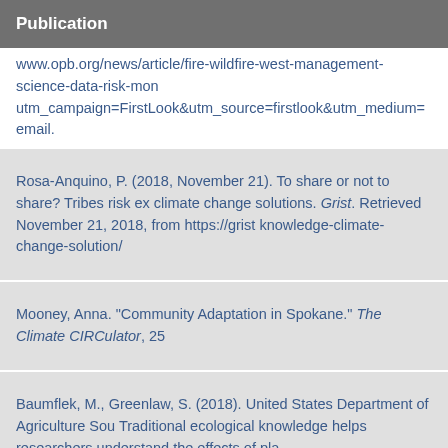Publication
www.opb.org/news/article/fire-wildfire-west-management-science-data-risk-mon utm_campaign=FirstLook&utm_source=firstlook&utm_medium=email.
Rosa-Anquino, P. (2018, November 21). To share or not to share? Tribes risk ex climate change solutions. Grist. Retrieved November 21, 2018, from https://grist knowledge-climate-change-solution/
Mooney, Anna. "Community Adaptation in Spokane." The Climate CIRCulator, 25
Baumflek, M., Greenlaw, S. (2018). United States Department of Agriculture Sou Traditional ecological knowledge helps researchers understand the effects of pla